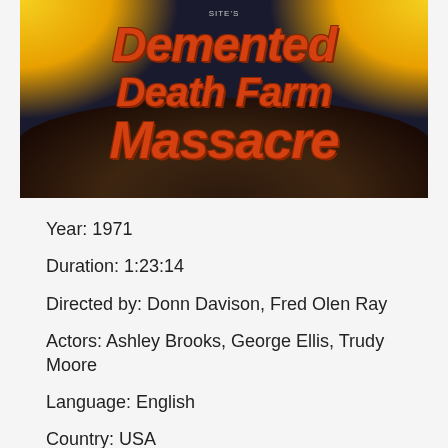[Figure (photo): Movie poster for 'Demented Death Farm Massacre' with large stylized red/orange italic text on a dark background with yellow/orange glowing sky]
Year: 1971
Duration: 1:23:14
Directed by: Donn Davison, Fred Olen Ray
Actors: Ashley Brooks, George Ellis, Trudy Moore
Language: English
Country: USA
Also known as: The Hillbilly Hooker, Honey Pie, Little